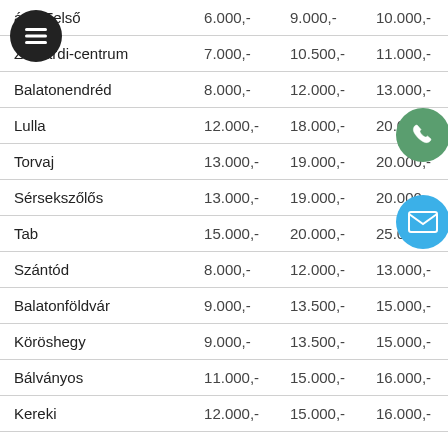| árdi-Felső | 6.000,- | 9.000,- | 10.000,- |
| Zamárdi-centrum | 7.000,- | 10.500,- | 11.000,- |
| Balatonendréd | 8.000,- | 12.000,- | 13.000,- |
| Lulla | 12.000,- | 18.000,- | 20.000,- |
| Torvaj | 13.000,- | 19.000,- | 20.000,- |
| Sérsekszőlős | 13.000,- | 19.000,- | 20.000,- |
| Tab | 15.000,- | 20.000,- | 25.000,- |
| Szántód | 8.000,- | 12.000,- | 13.000,- |
| Balatonföldvár | 9.000,- | 13.500,- | 15.000,- |
| Köröshegy | 9.000,- | 13.500,- | 15.000,- |
| Bálványos | 11.000,- | 15.000,- | 16.000,- |
| Kereki | 12.000,- | 15.000,- | 16.000,- |